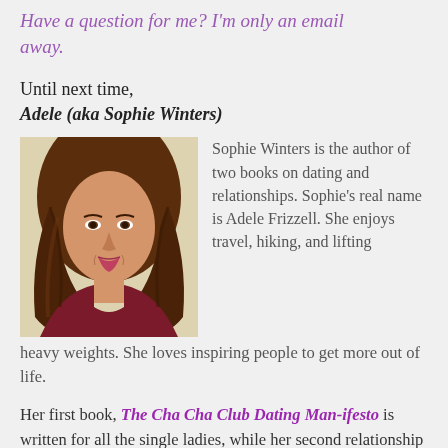Have a question for me? I'm only an email away.
Until next time,
Adele (aka Sophie Winters)
[Figure (photo): Portrait photo of Sophie Winters (Adele Frizzell), a woman with long brown hair, smiling, wearing a dark red top.]
Sophie Winters is the author of two books on dating and relationships. Sophie's real name is Adele Frizzell. She enjoys travel, hiking, and lifting heavy weights. She loves inspiring people to get more out of life.
Her first book, The Cha Cha Club Dating Man-ifesto is written for all the single ladies, while her second relationship advice book, It's Not You, It's Us: A Guide for Living Together Without Growing Apart is for couples who want more joy, intimacy, and respect in their relationship. She is working on her third book,